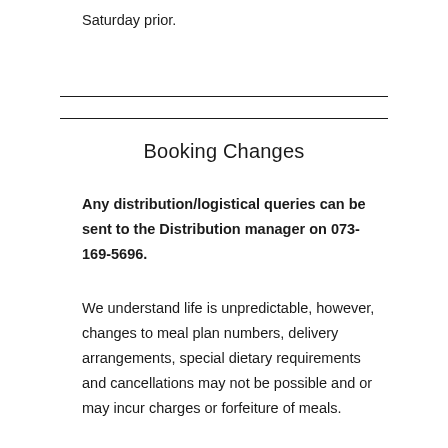Saturday prior.
Booking Changes
Any distribution/logistical queries can be sent to the Distribution manager on 073-169-5696.
We understand life is unpredictable, however, changes to meal plan numbers, delivery arrangements, special dietary requirements and cancellations may not be possible and or may incur charges or forfeiture of meals.